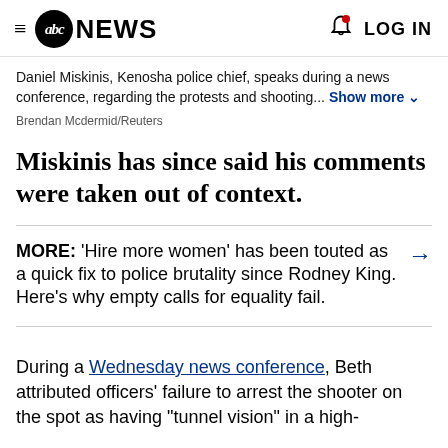abc NEWS  LOG IN
Daniel Miskinis, Kenosha police chief, speaks during a news conference, regarding the protests and shooting... Show more
Brendan Mcdermid/Reuters
Miskinis has since said his comments were taken out of context.
MORE: 'Hire more women' has been touted as a quick fix to police brutality since Rodney King. Here's why empty calls for equality fail.
During a Wednesday news conference, Beth attributed officers' failure to arrest the shooter on the spot as having "tunnel vision" in a high-